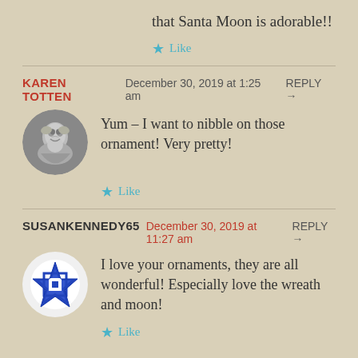that Santa Moon is adorable!!
★ Like
KAREN TOTTEN   December 30, 2019 at 1:25 am   REPLY →
Yum – I want to nibble on those ornament! Very pretty!
★ Like
SUSANKENNEDY65   December 30, 2019 at 11:27 am   REPLY →
I love your ornaments, they are all wonderful! Especially love the wreath and moon!
★ Like